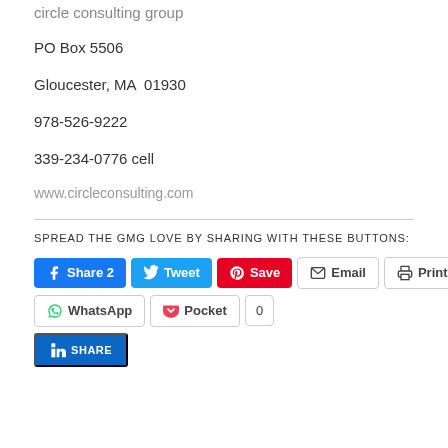circle consulting group
PO Box 5506
Gloucester, MA  01930
978-526-9222
339-234-0776 cell
www.circleconsulting.com
SPREAD THE GMG LOVE BY SHARING WITH THESE BUTTONS:
[Figure (screenshot): Social sharing buttons: Facebook Share 2, Tweet, Pinterest Save, Email, Print, WhatsApp, Pocket 0, LinkedIn SHARE]